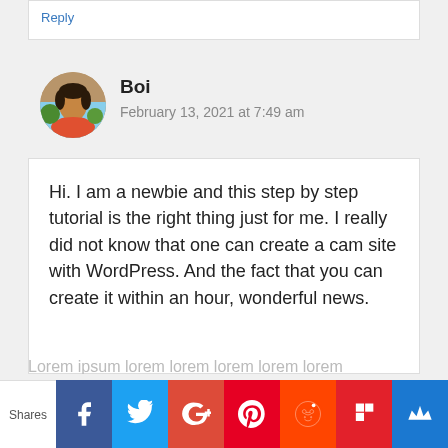Reply
[Figure (photo): Circular avatar photo of a woman (Boi) outdoors]
Boi
February 13, 2021 at 7:49 am
Hi. I am a newbie and this step by step tutorial is the right thing just for me. I really did not know that one can create a cam site with WordPress. And the fact that you can create it within an hour, wonderful news.
Shares | Facebook | Twitter | Google+ | Pinterest | Reddit | Flipboard | SU